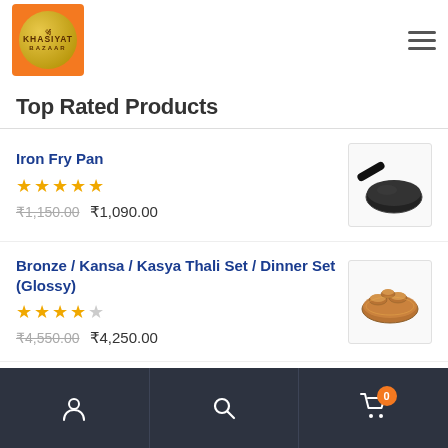Khasiyat Bazaar logo and hamburger menu
Top Rated Products
Iron Fry Pan — Rated 5 stars — ₹1,150.00 ₹1,090.00
Bronze / Kansa / Kasya Thali Set / Dinner Set (Glossy) — Rated 4 stars — ₹4,550.00 ₹4,250.00
Pure Copper Water Bottle (Hammered)
Navigation bar with user, search, and cart (0)